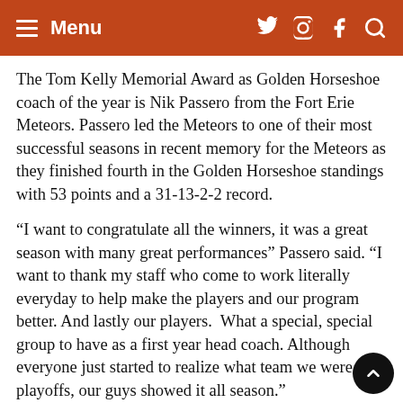Menu
The Tom Kelly Memorial Award as Golden Horseshoe coach of the year is Nik Passero from the Fort Erie Meteors. Passero led the Meteors to one of their most successful seasons in recent memory for the Meteors as they finished fourth in the Golden Horseshoe standings with 53 points and a 31-13-2-2 record.
“I want to congratulate all the winners, it was a great season with many great performances” Passero said. “I want to thank my staff who come to work literally everyday to help make the players and our program better. And lastly our players.  What a special, special group to have as a first year head coach. Although everyone just started to realize what team we were in playoffs, our guys showed it all season.”
The Brent Rubel Memorial Award as rookie of the y